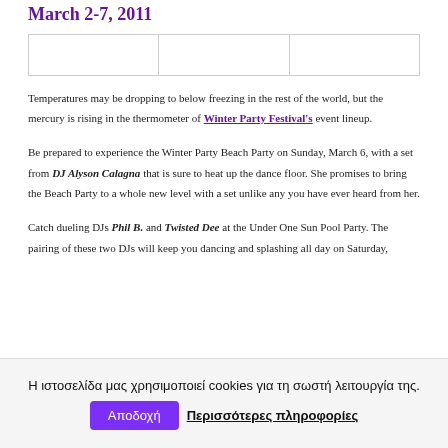March 2-7, 2011
|  |  |  |
| --- | --- | --- |
|  |  |  |
Temperatures may be dropping to below freezing in the rest of the world, but the mercury is rising in the thermometer of Winter Party Festival's event lineup.
Be prepared to experience the Winter Party Beach Party on Sunday, March 6, with a set from DJ Alyson Calagna that is sure to heat up the dance floor. She promises to bring the Beach Party to a whole new level with a set unlike any you have ever heard from her.
Catch dueling DJs Phil B. and Twisted Dee at the Under One Sun Pool Party. The pairing of these two DJs will keep you dancing and splashing all day on Saturday,
Η ιστοσελίδα μας χρησιμοποιεί cookies για τη σωστή λειτουργία της. Αποδοχή Περισσότερες πληροφορίες